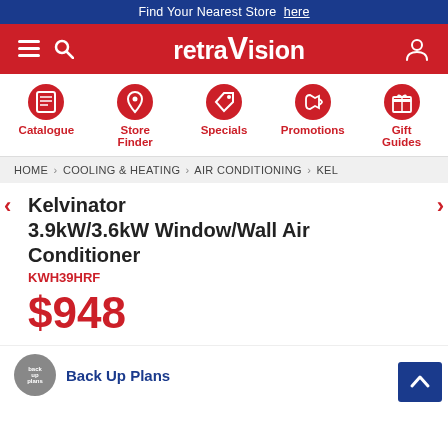Find Your Nearest Store here
[Figure (logo): retraVision logo on red navigation bar with hamburger menu, search icon, and user icon]
[Figure (infographic): Five category icons: Catalogue (book), Store Finder (location pin), Specials (tag), Promotions (megaphone), Gift Guides (gift box)]
HOME > COOLING & HEATING > AIR CONDITIONING > KEL
Kelvinator 3.9kW/3.6kW Window/Wall Air Conditioner
KWH39HRF
$948
Back Up Plans